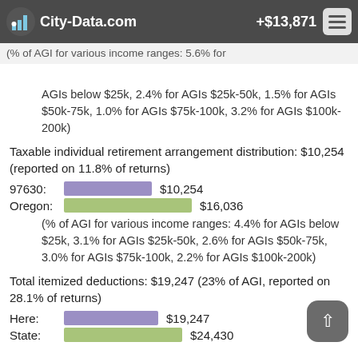City-Data.com +$13,871
(% of AGI for various income ranges: 5.6% for AGIs below $25k, 2.4% for AGIs $25k-50k, 1.5% for AGIs $50k-75k, 1.0% for AGIs $75k-100k, 3.2% for AGIs $100k-200k)
Taxable individual retirement arrangement distribution: $10,254 (reported on 11.8% of returns)
97630: $10,254
Oregon: $16,036
(% of AGI for various income ranges: 4.4% for AGIs below $25k, 3.1% for AGIs $25k-50k, 2.6% for AGIs $50k-75k, 3.0% for AGIs $75k-100k, 2.2% for AGIs $100k-200k)
Total itemized deductions: $19,247 (23% of AGI, reported on 28.1% of returns)
Here: $19,247
State: $24,430